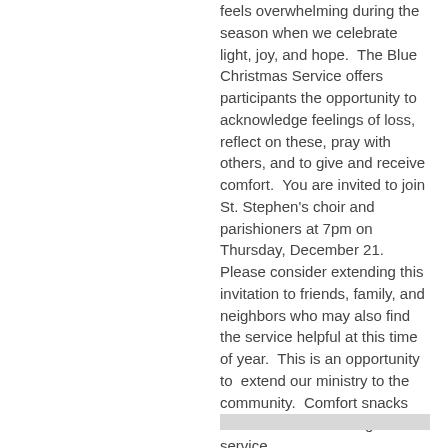feels overwhelming during the season when we celebrate light, joy, and hope.  The Blue Christmas Service offers participants the opportunity to acknowledge feelings of loss, reflect on these, pray with others, and to give and receive comfort.  You are invited to join St. Stephen's choir and parishioners at 7pm on Thursday, December 21. Please consider extending this invitation to friends, family, and neighbors who may also find the service helpful at this time of year.  This is an opportunity to  extend our ministry to the community.  Comfort snacks will be served following the service.